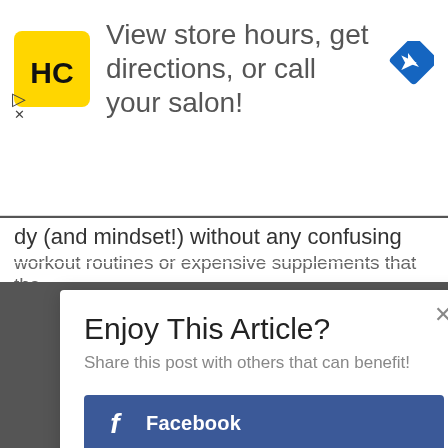[Figure (screenshot): Ad banner with HC logo (yellow square with black HC text), advertisement text 'View store hours, get directions, or call your salon!' and a blue diamond navigation icon]
dy (and mindset!) without any confusing phony
workout routines or expensive supplements that the
Enjoy This Article?
Share this post with others that can benefit!
Facebook
Twitter
Google+
Pinterest